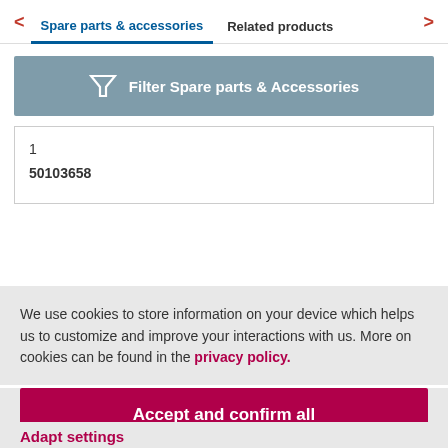Spare parts & accessories | Related products
[Figure (screenshot): Filter Spare parts & Accessories button with funnel icon]
1
50103658
We use cookies to store information on your device which helps us to customize and improve your interactions with us. More on cookies can be found in the privacy policy.
Accept and confirm all
Adapt settings